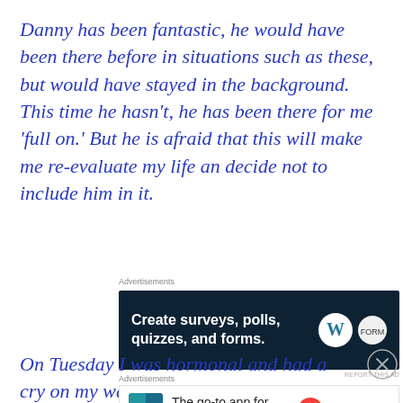Danny has been fantastic, he would have been there before in situations such as these, but would have stayed in the background. This time he hasn't, he has been there for me 'full on.' But he is afraid that this will make me re-evaluate my life an decide not to include him in it.
Advertisements
[Figure (other): Advertisement banner: dark background with text 'Create surveys, polls, quizzes, and forms.' with WordPress logo and another circular logo on right]
On Tuesday I was hormonal and had a cry on my way
Advertisements
[Figure (other): Advertisement banner: Pocket Casts app ad with colorful logo and text 'The go-to app for podcast lovers.']